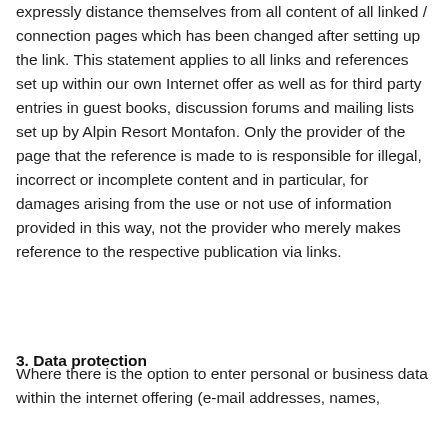expressly distance themselves from all content of all linked / connection pages which has been changed after setting up the link. This statement applies to all links and references set up within our own Internet offer as well as for third party entries in guest books, discussion forums and mailing lists set up by Alpin Resort Montafon. Only the provider of the page that the reference is made to is responsible for illegal, incorrect or incomplete content and in particular, for damages arising from the use or not use of information provided in this way, not the provider who merely makes reference to the respective publication via links.
3. Data protection
Where there is the option to enter personal or business data within the internet offering (e-mail addresses, names,